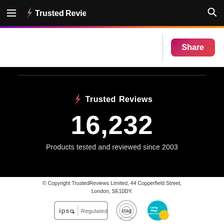Trusted Reviews
[Figure (logo): Share button with gradient background]
[Figure (infographic): Dark section with Trusted Reviews logo, 16,232 stat, and Products tested and reviewed since 2003]
© Copyright TrustedReviews Limited, 44 Copperfield Street, London, SE10DY.
[Figure (logo): IPSO Regulated badge, CTAG logo, Living Wage logo]